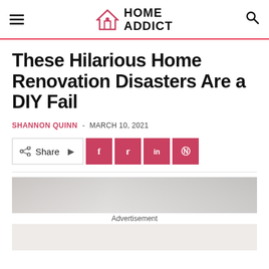HOME ADDICT
These Hilarious Home Renovation Disasters Are a DIY Fail
SHANNON QUINN - MARCH 10, 2021
[Figure (other): Social share bar with Share label, arrow, and social media icons for Facebook, Twitter, LinkedIn, and Pinterest]
[Figure (photo): Partial advertisement image strip at bottom of page, labeled Advertisement]